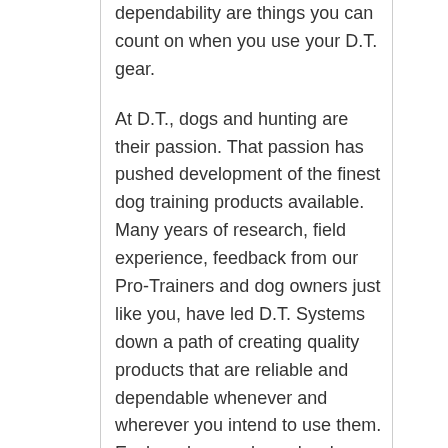dependability are things you can count on when you use your D.T. gear.

At D.T., dogs and hunting are their passion. That passion has pushed development of the finest dog training products available. Many years of research, field experience, feedback from our Pro-Trainers and dog owners just like you, have led D.T. Systems down a path of creating quality products that are reliable and dependable whenever and wherever you intend to use them. Each and every day, a hardcore Pro-Staff team puts D.T. equipment through some of the toughest conditions imaginable